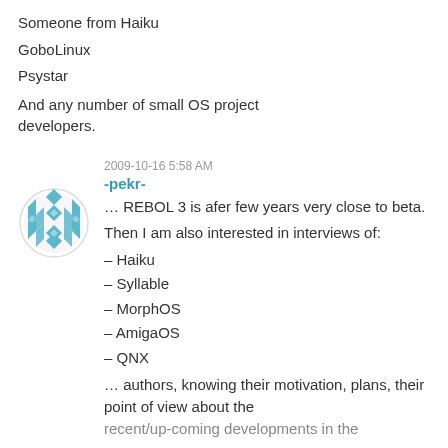Someone from Haiku
GoboLinux
Psystar
And any number of small OS project developers.
2009-10-16 5:58 AM
-pekr-
… REBOL 3 is afer few years very close to beta.
Then I am also interested in interviews of:
– Haiku
– Syllable
– MorphOS
– AmigaOS
– QNX
… authors, knowing their motivation, plans, their point of view about the recent/up-coming developments in the